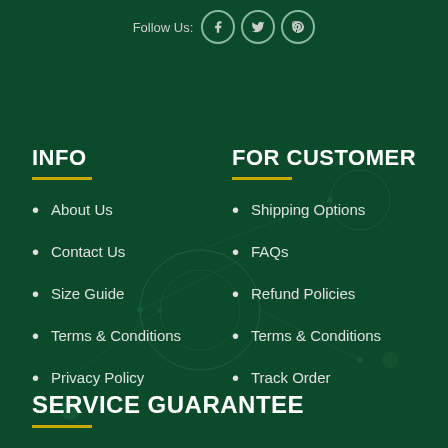Follow Us:
INFO
About Us
Contact Us
Size Guide
Terms & Conditions
Privacy Policy
FOR CUSTOMER
Shipping Options
FAQs
Refund Policies
Terms & Conditions
Track Order
SERVICE GUARANTEE